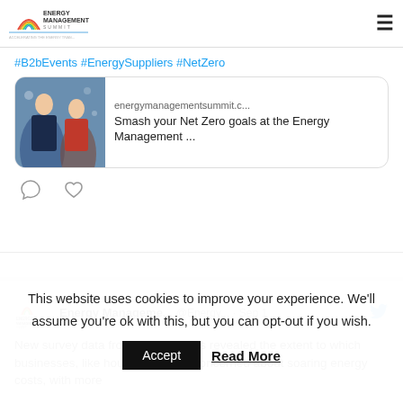Energy Management Summit
#B2bEvents #EnergySuppliers #NetZero
[Figure (screenshot): Link card showing energymanagementsummit.c... with text 'Smash your Net Zero goals at the Energy Management ...' and a photo of two people at an event]
Energy Manageme... @Energy... · Sep 1
New survey data from the #CBI has revealed the extent to which businesses, like households, are concerned about soaring energy costs, with more
This website uses cookies to improve your experience. We'll assume you're ok with this, but you can opt-out if you wish.
Accept  Read More